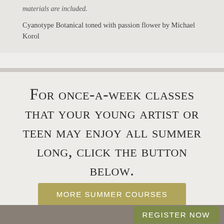materials are included.
Cyanotype Botanical toned with passion flower by Michael Korol
For once-a-week classes that your young artist or teen may enjoy all summer long, click the button below.
MORE SUMMER COURSES
REGISTER NOW